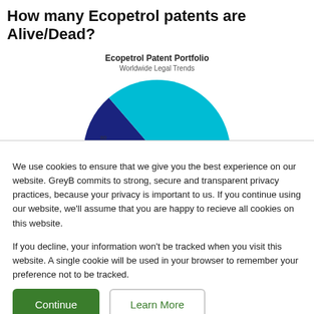How many Ecopetrol patents are Alive/Dead?
[Figure (pie-chart): Ecopetrol Patent Portfolio]
We use cookies to ensure that we give you the best experience on our website. GreyB commits to strong, secure and transparent privacy practices, because your privacy is important to us. If you continue using our website, we'll assume that you are happy to recieve all cookies on this website.
If you decline, your information won't be tracked when you visit this website. A single cookie will be used in your browser to remember your preference not to be tracked.